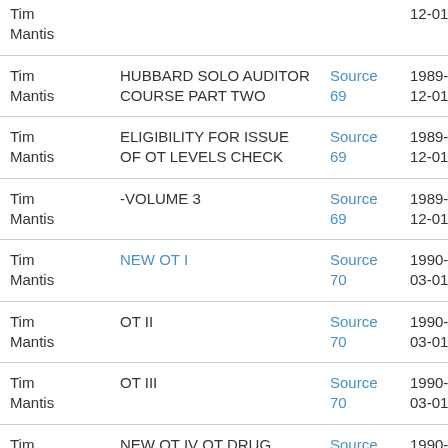| Name | Course/Item | Source | Date |
| --- | --- | --- | --- |
| Tim Mantis |  |  | 12-01 |
| Tim Mantis | HUBBARD SOLO AUDITOR COURSE PART TWO | Source 69 | 1989-12-01 |
| Tim Mantis | ELIGIBILITY FOR ISSUE OF OT LEVELS CHECK | Source 69 | 1989-12-01 |
| Tim Mantis | -VOLUME 3 | Source 69 | 1989-12-01 |
| Tim Mantis | NEW OT I | Source 70 | 1990-03-01 |
| Tim Mantis | OT II | Source 70 | 1990-03-01 |
| Tim Mantis | OT III | Source 70 | 1990-03-01 |
| Tim Mantis | NEW OT IV OT DRUG RUNDOWN | Source 70 | 1990-03-01 |
| Tim Mantis | NEW HUBBARD PROFESSIONAL TR COURSE | Source 80 | 1992-05-01 |